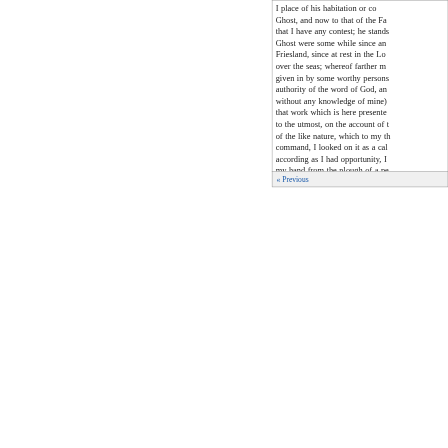I place of his habitation or co... Ghost, and now to that of the Fa... that I have any contest; he stands Ghost were some while since an... Friesland, since at rest in the Lo... over the seas; whereof farther m... given in by some worthy persons authority of the word of God, an... without any knowledge of mine) that work which is here presente... to the utmost, on the account of t of the like nature, which to my th command, I looked on it as a cal... according as I had opportunity, I my hand from the plough of a pe... whereof I was somewhat tired, th some progress made, finding the use to myself, I have been carrie... occasions to attend unto it) with finding Mr Biddle came short of him oppugned, I have called in t... Smalcius, and his Catechism (co...
« Previous